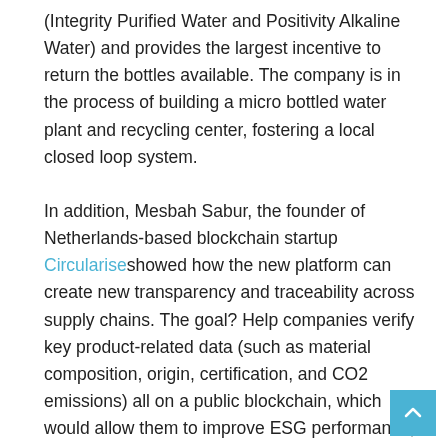(Integrity Purified Water and Positivity Alkaline Water) and provides the largest incentive to return the bottles available. The company is in the process of building a micro bottled water plant and recycling center, fostering a local closed loop system.
In addition, Mesbah Sabur, the founder of Netherlands-based blockchain startup Circularise showed how the new platform can create new transparency and traceability across supply chains. The goal? Help companies verify key product-related data (such as material composition, origin, certification, and CO2 emissions) all on a public blockchain, which would allow them to improve ESG performance, demonstrate responsible sourcing, and make progress towards a circular economy.